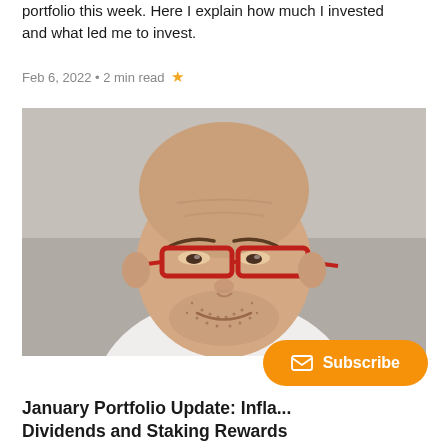portfolio this week. Here I explain how much I invested and what led me to invest.
Feb 6, 2022 • 2 min read ★
[Figure (photo): Close-up photo of a middle-aged bald man with red glasses (lowered on his nose), stubble beard, wearing a white shirt, looking down with a slight smirk, against a grey background.]
January Portfolio Update: Infla... Dividends and Staking Rewards